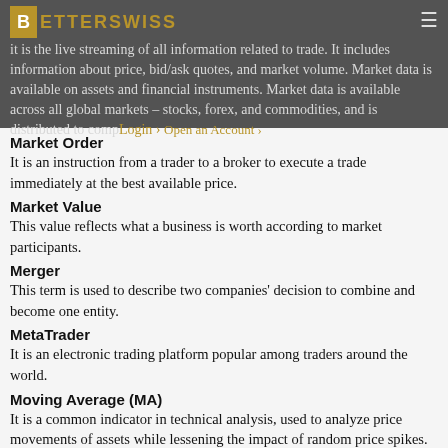It is the live streaming of all information related to trade. It includes information about price, bid/ask quotes, and market volume. Market data is available on assets and financial instruments. Market data is available across all global markets – stocks, forex, and commodities, and is distributed to companies and individual traders.
Market Order
It is an instruction from a trader to a broker to execute a trade immediately at the best available price.
Market Value
This value reflects what a business is worth according to market participants.
Merger
This term is used to describe two companies' decision to combine and become one entity.
MetaTrader
It is an electronic trading platform popular among traders around the world.
Moving Average (MA)
It is a common indicator in technical analysis, used to analyze price movements of assets while lessening the impact of random price spikes.
Multiplier Effect
This term describes the impact that changes in monetary supply have on economic activity. When a government, business, or individual